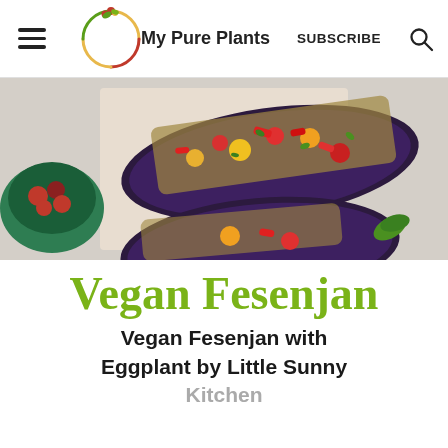My Pure Plants | SUBSCRIBE
[Figure (photo): Overhead photo of baked eggplant halves topped with quinoa, cherry tomatoes, red peppers, and fresh herbs on a light background with a green bowl of tomatoes on the side.]
Vegan Fesenjan
Vegan Fesenjan with Eggplant by Little Sunny Kitchen